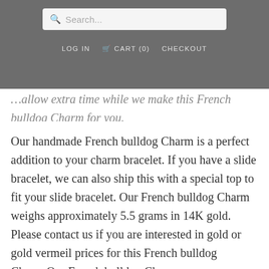Search... | LOG IN  CART (0)  CHECKOUT
…allow extra time while we make this French bulldog Charm for you.
Our handmade French bulldog Charm is a perfect addition to your charm bracelet. If you have a slide bracelet, we can also ship this with a special top to fit your slide bracelet. Our French bulldog Charm weighs approximately 5.5 grams in 14K gold. Please contact us if you are interested in gold or gold vermeil prices for this French bulldog Charm.Our French bulldog Charm measures approximately 3/4 inches high.
Our French bulldog Charm is exceptionally…